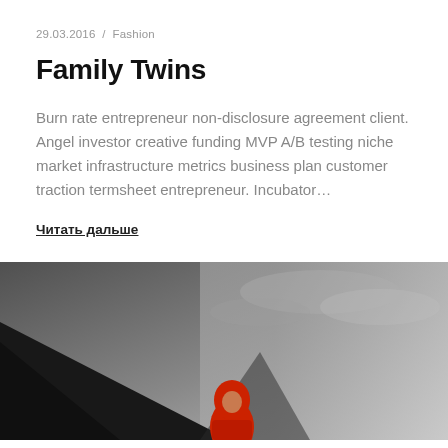29.03.2016 / Fashion
Family Twins
Burn rate entrepreneur non-disclosure agreement client. Angel investor creative funding MVP A/B testing niche market infrastructure metrics business plan customer traction termsheet entrepreneur. Incubator…
Читать дальше
[Figure (photo): Outdoor photo showing a dark mountain silhouette on the left against a grey overcast sky, with a person in a red jacket/hoodie visible in the lower center of the frame.]